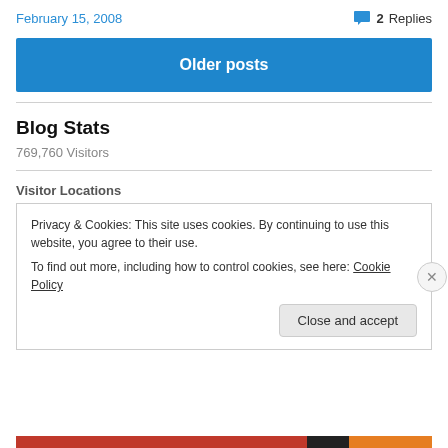February 15, 2008
2 Replies
Older posts
Blog Stats
769,760 Visitors
Visitor Locations
Privacy & Cookies: This site uses cookies. By continuing to use this website, you agree to their use.
To find out more, including how to control cookies, see here: Cookie Policy
Close and accept